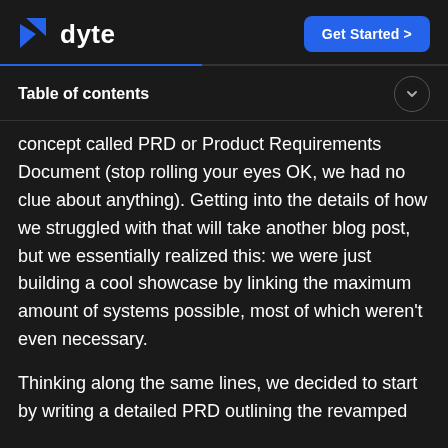dyte | Get Started >
Table of contents
concept called PRD or Product Requirements Document (stop rolling your eyes OK, we had no clue about anything). Getting into the details of how we struggled with that will take another blog post, but we essentially realized this: we were just building a cool showcase by linking the maximum amount of systems possible, most of which weren't even necessary.
Thinking along the same lines, we decided to start by writing a detailed PRD outlining the revamped